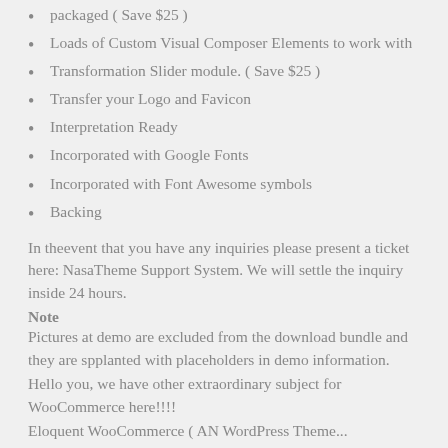packaged ( Save $25 )
Loads of Custom Visual Composer Elements to work with
Transformation Slider module. ( Save $25 )
Transfer your Logo and Favicon
Interpretation Ready
Incorporated with Google Fonts
Incorporated with Font Awesome symbols
Backing
In theevent that you have any inquiries please present a ticket here: NasaTheme Support System. We will settle the inquiry inside 24 hours.
Note
Pictures at demo are excluded from the download bundle and they are spplanted with placeholders in demo information.
Hello you, we have other extraordinary subject for WooCommerce here!!!!
Eloquent WooCommerce ( AN WordPress Theme...